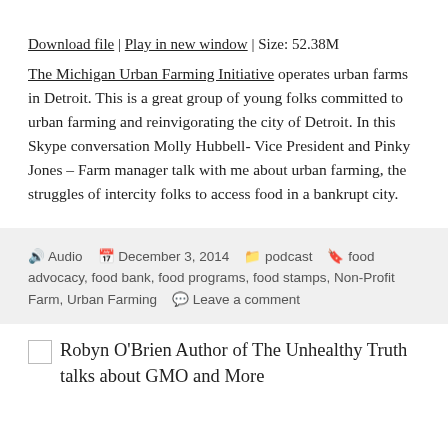Download file | Play in new window | Size: 52.38M
The Michigan Urban Farming Initiative operates urban farms in Detroit. This is a great group of young folks committed to urban farming and reinvigorating the city of Detroit. In this Skype conversation Molly Hubbell- Vice President and Pinky Jones – Farm manager talk with me about urban farming, the struggles of intercity folks to access food in a bankrupt city.
Audio  December 3, 2014  podcast  food advocacy, food bank, food programs, food stamps, Non-Profit Farm, Urban Farming  Leave a comment
Robyn O'Brien Author of The Unhealthy Truth talks about GMO and More